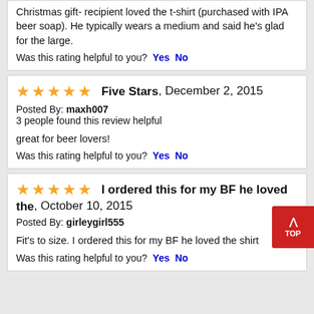Christmas gift- recipient loved the t-shirt (purchased with IPA beer soap). He typically wears a medium and said he's glad for the large.
Was this rating helpful to you? Yes No
Five Stars, December 2, 2015
Posted By: maxh007
3 people found this review helpful
great for beer lovers!
Was this rating helpful to you? Yes No
I ordered this for my BF he loved the, October 10, 2015
Posted By: girleygirl555
Fit's to size. I ordered this for my BF he loved the shirt
Was this rating helpful to you? Yes No